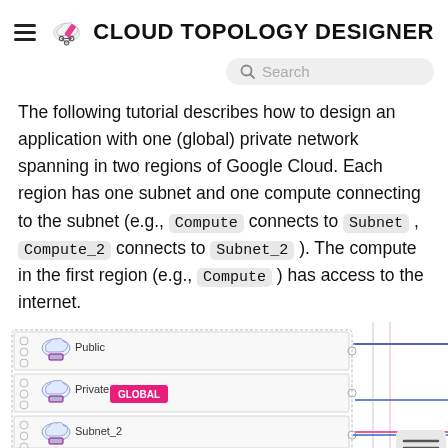CLOUD TOPOLOGY DESIGNER
The following tutorial describes how to design an application with one (global) private network spanning in two regions of Google Cloud. Each region has one subnet and one compute connecting to the subnet (e.g., Compute connects to Subnet , Compute_2 connects to Subnet_2 ). The compute in the first region (e.g., Compute ) has access to the internet.
[Figure (network-graph): Cloud topology diagram showing Public, Private (GLOBAL), Subnet_2 (REGION2), and Subnet (REGION1) network layers with connecting lines]